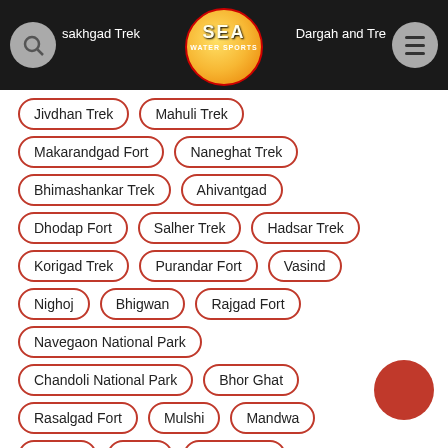SEA WATER SPORTS navigation bar with search, logo, menu
Jivdhan Trek
Mahuli Trek
Makarandgad Fort
Naneghat Trek
Bhimashankar Trek
Ahivantgad
Dhodap Fort
Salher Trek
Hadsar Trek
Korigad Trek
Purandar Fort
Vasind
Nighoj
Bhigwan
Rajgad Fort
Navegaon National Park
Chandoli National Park
Bhor Ghat
Rasalgad Fort
Mulshi
Mandwa
Khopoli
Vasai
Sindhudurg